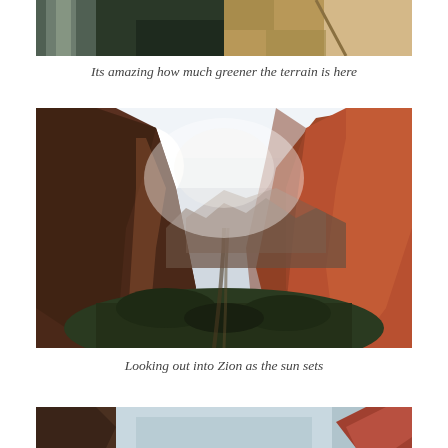[Figure (photo): Top partial view of a canyon landscape, partially cut off. Left side shows mist/waterfall, right side shows sandy/rocky terrain with a trail.]
Its amazing how much greener the terrain is here
[Figure (photo): Panoramic view looking out into Zion canyon at sunset. Dramatic red sandstone cliffs frame a deep valley with a road winding through. Sun is setting behind the left ridge creating a bright glow.]
Looking out into Zion as the sun sets
[Figure (photo): Bottom partial view of another canyon/landscape photo, partially cut off at bottom of page.]